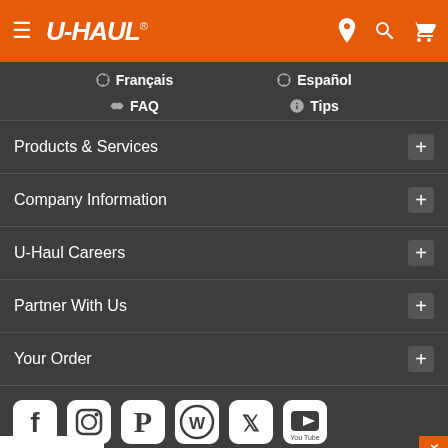U-HAUL navigation header with hamburger menu, logo, location, search, and cart icons
🌐 Français
🌐 Español
? FAQ
ℹ Tips
Products & Services +
Company Information +
U-Haul Careers +
Partner With Us +
Your Order +
[Figure (other): Social media icons row: Facebook, Instagram, Pinterest, WordPress, Twitter, YouTube]
This site is owned and operated by Web Team Associates, Inc. Copyright 2022 U-Haul International, Inc. All rights reserved.